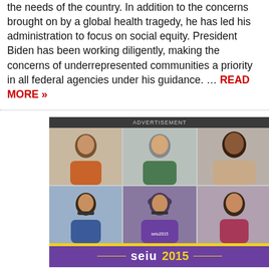the needs of the country. In addition to the concerns brought on by a global health tragedy, he has led his administration to focus on social equity. President Biden has been working diligently, making the concerns of underrepresented communities a priority in all federal agencies under his guidance. … READ MORE »
[Figure (illustration): SEIU 2015 advertisement showing a 3x2 grid of diverse women's portraits above a purple banner with SEIU 2015 logo and yellow accent bar]